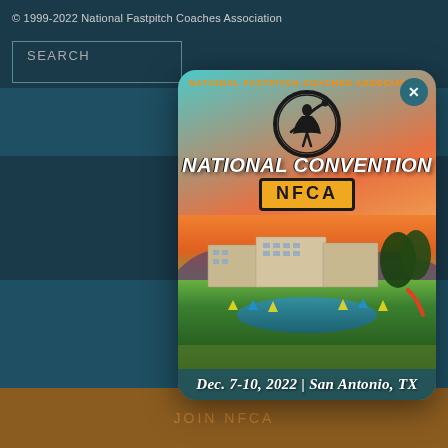© 1999-2022 National Fastpitch Coaches Association
SEARCH
[Figure (screenshot): NFCA National Convention promotional popup modal showing the National Fastpitch Coaches Association logo, a softball pitcher silhouette, NATIONAL CONVENTION text, NFCA badge, a resort hotel photo background with pool area and trees, and date/location text: Dec. 7-10, 2022 | San Antonio, TX]
JOIN NFCA